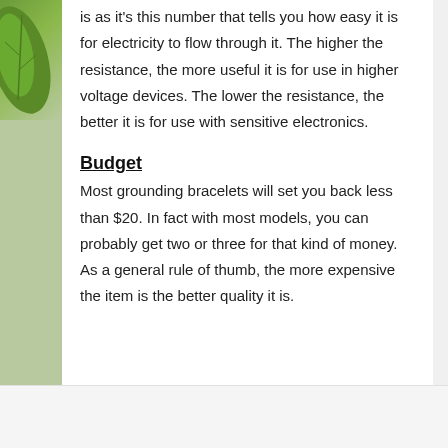is as it's this number that tells you how easy it is for electricity to flow through it. The higher the resistance, the more useful it is for use in higher voltage devices. The lower the resistance, the better it is for use with sensitive electronics.
Budget
Most grounding bracelets will set you back less than $20. In fact with most models, you can probably get two or three for that kind of money. As a general rule of thumb, the more expensive the item is the better quality it is.
Reviews